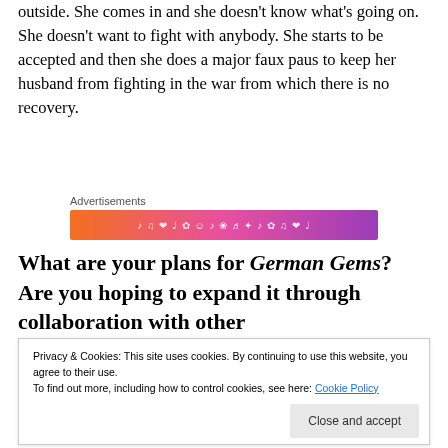outside.  She comes in and she doesn't know what's going on.  She doesn't want to fight with anybody.  She starts to be accepted and then she does a major faux paus to keep her husband from fighting in the war from which there is no recovery.
[Figure (other): Advertisement banner with gradient from orange to purple, containing decorative musical note and other small icons]
What are your plans for German Gems? Are you hoping to expand it through collaboration with other festivals so that you can share the expense of flying...
Privacy & Cookies: This site uses cookies. By continuing to use this website, you agree to their use. To find out more, including how to control cookies, see here: Cookie Policy